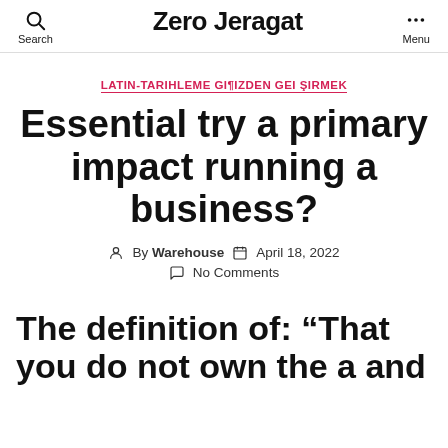Zero Jeragat
LATIN-TARIHLEME GI¶IZDEN GEI ŞIRMEK
Essential try a primary impact running a business?
By Warehouse  April 18, 2022
No Comments
The definition of: “That you do not own the a and